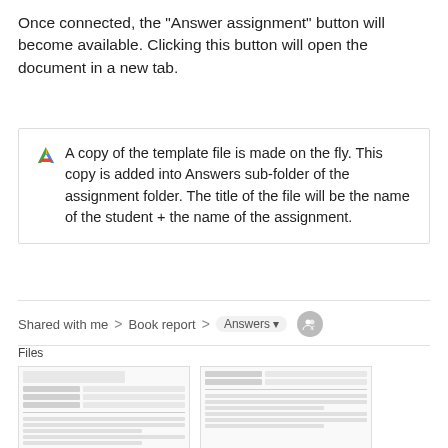Once connected, the "Answer assignment" button will become available. Clicking this button will open the document in a new tab.
A copy of the template file is made on the fly. This copy is added into Answers sub-folder of the assignment folder. The title of the file will be the name of the student + the name of the assignment.
[Figure (screenshot): Google Drive breadcrumb navigation showing: Shared with me > Book report > Answers (with dropdown arrow and people icon), followed by a Files section showing two document thumbnails representing student assignment files.]